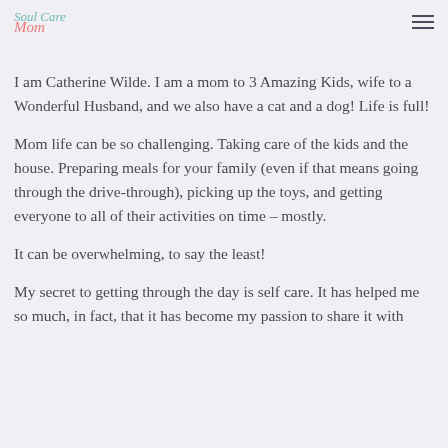Soul Care Mom [logo] [hamburger menu]
Hi there, Beautiful Mama.
I am Catherine Wilde. I am a mom to 3 Amazing Kids, wife to a Wonderful Husband, and we also have a cat and a dog! Life is full!
Mom life can be so challenging. Taking care of the kids and the house. Preparing meals for your family (even if that means going through the drive-through), picking up the toys, and getting everyone to all of their activities on time – mostly.
It can be overwhelming, to say the least!
My secret to getting through the day is self care. It has helped me so much, in fact, that it has become my passion to share it with